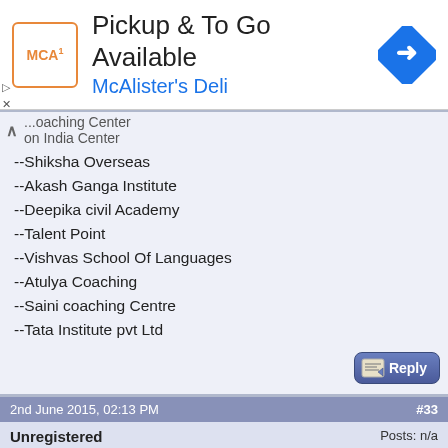[Figure (screenshot): Advertisement banner for McAlister's Deli: Pickup & To Go Available]
...oaching Center
on India Center
--Shiksha Overseas
--Akash Ganga Institute
--Deepika civil Academy
--Talent Point
--Vishvas School Of Languages
--Atulya Coaching
--Saini coaching Centre
--Tata Institute pvt Ltd
2nd June 2015, 02:13 PM
#33
Unregistered
Guest
Posts: n/a
Re: Which coaching center is best in delhi for staff selection commission?
WHICH IS THE BEST COACHING INSTITUTE FOR SSC IN DELHI?